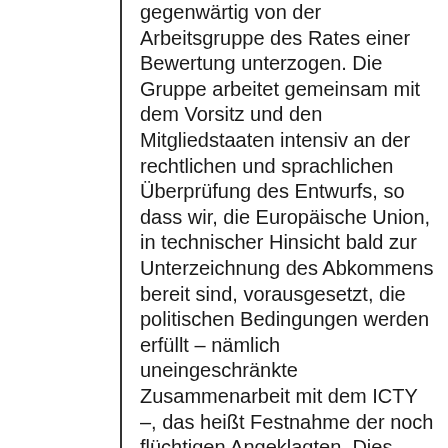gegenwärtig von der Arbeitsgruppe des Rates einer Bewertung unterzogen. Die Gruppe arbeitet gemeinsam mit dem Vorsitz und den Mitgliedstaaten intensiv an der rechtlichen und sprachlichen Überprüfung des Entwurfs, so dass wir, die Europäische Union, in technischer Hinsicht bald zur Unterzeichnung des Abkommens bereit sind, vorausgesetzt, die politischen Bedingungen werden erfüllt – nämlich uneingeschränkte Zusammenarbeit mit dem ICTY –, das heißt Festnahme der noch flüchtigen Angeklagten. Dies deckt sich nach meiner Einschätzung mit der Empfehlung, die Sie in Ihrem Bericht an den Rat ausgesprochen haben. Was den ICTY betrifft, so ist aus meiner Sicht, wie bereits erwähnt, Serbiens Teil des Glases zurzeit eher halb voll als halb leer